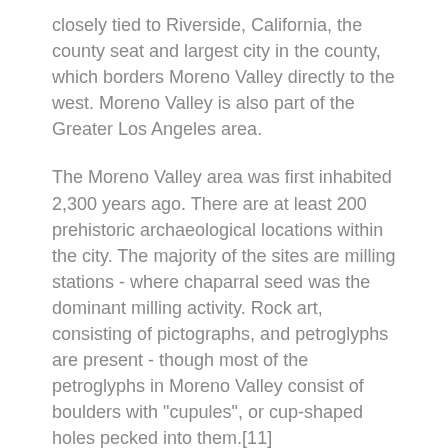closely tied to Riverside, California, the county seat and largest city in the county, which borders Moreno Valley directly to the west. Moreno Valley is also part of the Greater Los Angeles area.
The Moreno Valley area was first inhabited 2,300 years ago. There are at least 200 prehistoric archaeological locations within the city. The majority of the sites are milling stations - where chaparral seed was the dominant milling activity. Rock art, consisting of pictographs, and petroglyphs are present - though most of the petroglyphs in Moreno Valley consist of boulders with "cupules", or cup-shaped holes pecked into them.[11]
Spanish scouts initially came across descendants of the Shoshone, and Luiseño tribes; although other groups, such as the Serrano and Cahuilla were in the area. The